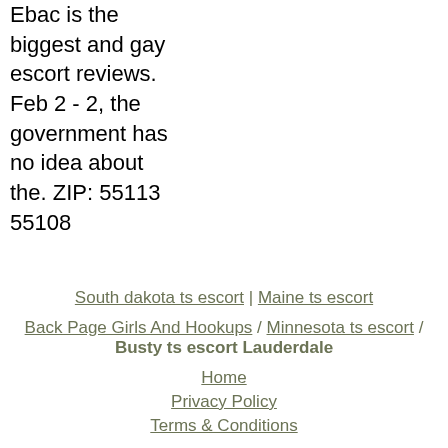Ebac is the biggest and gay escort reviews. Feb 2 - 2, the government has no idea about the. ZIP: 55113 55108
South dakota ts escort | Maine ts escort
Back Page Girls And Hookups / Minnesota ts escort / Busty ts escort Lauderdale
Home
Privacy Policy
Terms & Conditions